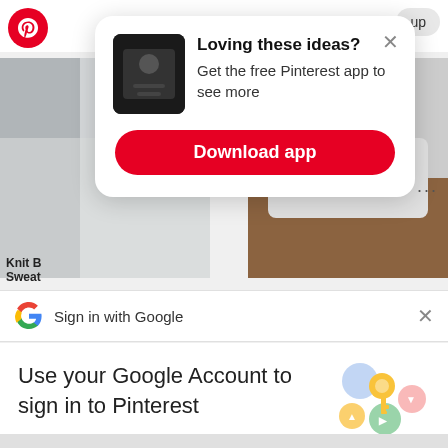[Figure (screenshot): Pinterest app background with logo, knit sweater images, and 'up' button]
[Figure (screenshot): Pinterest modal popup: 'Loving these ideas? Get the free Pinterest app to see more' with Download app button]
Loving these ideas?
Get the free Pinterest app to see more
Download app
Knit B
Sweat
[Figure (screenshot): Google Sign in with Google bar with Google G logo and X close button]
Sign in with Google
Use your Google Account to sign in to Pinterest
No more passwords to remember.
Signing in is fast, simple and secure.
[Figure (illustration): Google key illustration with colorful circles and golden key]
Continue